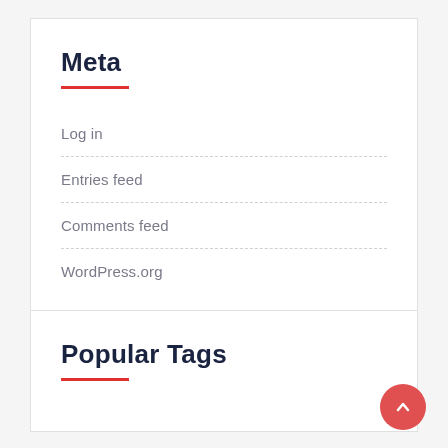Meta
Log in
Entries feed
Comments feed
WordPress.org
Popular Tags